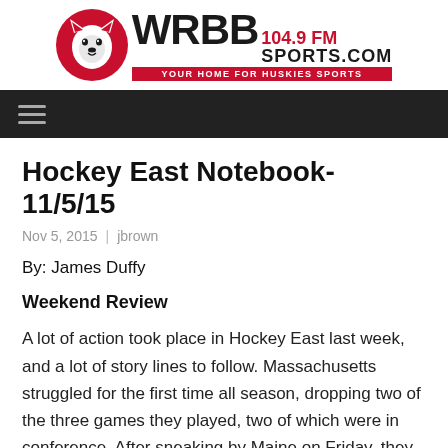[Figure (logo): WRBB 104.9 FM Sports.com logo with Husky mascot head and tagline 'YOUR HOME FOR HUSKIES SPORTS']
≡ (navigation menu icon)
Hockey East Notebook- 11/5/15
Nov 5, 2015  |  jbrown
By: James Duffy
Weekend Review
A lot of action took place in Hockey East last week, and a lot of story lines to follow. Massachusetts struggled for the first time all season, dropping two of the three games they played, two of which were in conference. After sneaking by Maine on Friday, they were smoked by Yale